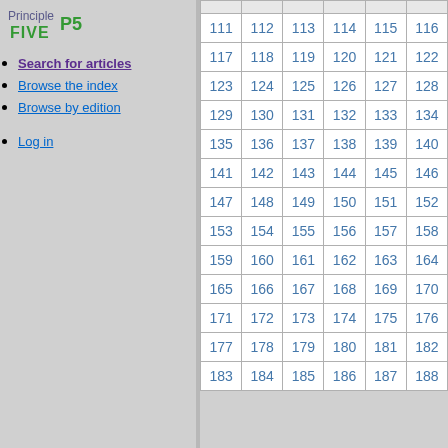Principle FIVE P5
Search for articles
Browse the index
Browse by edition
Log in
| 111 | 112 | 113 | 114 | 115 | 116 |
| 117 | 118 | 119 | 120 | 121 | 122 |
| 123 | 124 | 125 | 126 | 127 | 128 |
| 129 | 130 | 131 | 132 | 133 | 134 |
| 135 | 136 | 137 | 138 | 139 | 140 |
| 141 | 142 | 143 | 144 | 145 | 146 |
| 147 | 148 | 149 | 150 | 151 | 152 |
| 153 | 154 | 155 | 156 | 157 | 158 |
| 159 | 160 | 161 | 162 | 163 | 164 |
| 165 | 166 | 167 | 168 | 169 | 170 |
| 171 | 172 | 173 | 174 | 175 | 176 |
| 177 | 178 | 179 | 180 | 181 | 182 |
| 183 | 184 | 185 | 186 | 187 | 188 |